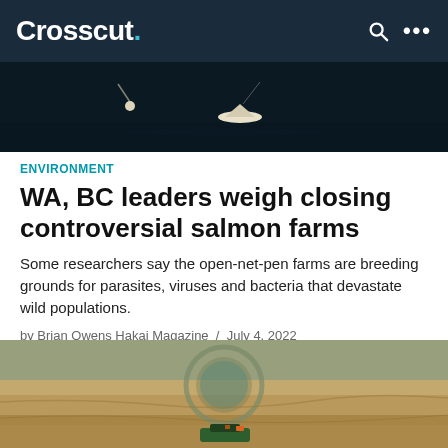Crosscut.
[Figure (photo): Aerial dark ocean photo showing two small boats or buoys with light trails at night]
ENVIRONMENT
WA, BC leaders weigh closing controversial salmon farms
Some researchers say the open-net-pen farms are breeding grounds for parasites, viruses and bacteria that devastate wild populations.
by Brian Owens Hakai Magazine  /  July 4, 2022
[Figure (photo): Aerial view of a large circular salmon farm net pen in brown/tan tidal waters with a green boat nearby]